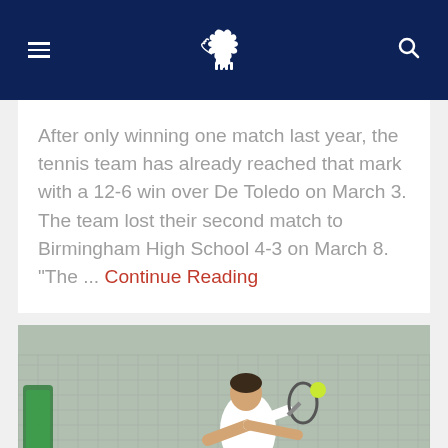Navigation bar with hamburger menu, mustang logo, and search icon
After only winning one match last year, the tennis team has already reached that mark with a 12-6 win over De Toledo on March 3. The team lost their second match to Birmingham High School 4-3 on March 8. "The ... Continue Reading
[Figure (photo): A male tennis player in a white shirt and dark shorts hitting a ball on an outdoor tennis court with a chain-link fence in the background.]